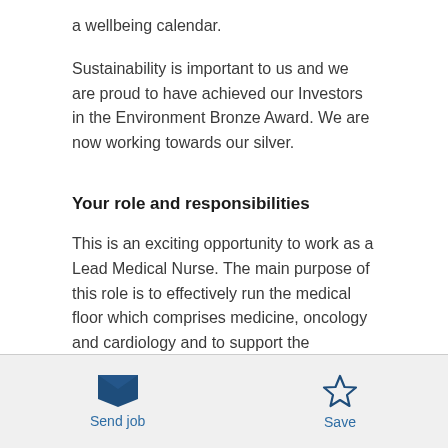a wellbeing calendar.
Sustainability is important to us and we are proud to have achieved our Investors in the Environment Bronze Award. We are now working towards our silver.
Your role and responsibilities
This is an exciting opportunity to work as a Lead Medical Nurse. The main purpose of this role is to effectively run the medical floor which comprises medicine, oncology and cardiology and to support the
Send job | Save